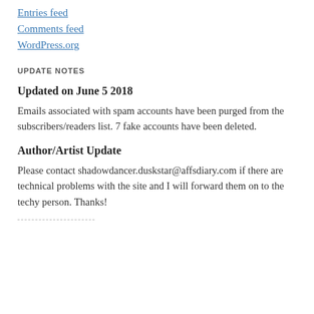Entries feed
Comments feed
WordPress.org
UPDATE NOTES
Updated on June 5 2018
Emails associated with spam accounts have been purged from the subscribers/readers list. 7 fake accounts have been deleted.
Author/Artist Update
Please contact shadowdancer.duskstar@affsdiary.com if there are technical problems with the site and I will forward them on to the techy person. Thanks!